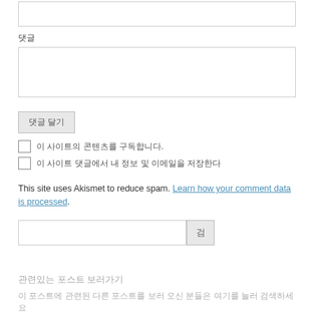[Figure (other): Empty text input box at top of page]
댓글
[Figure (other): Tall text area input box]
댓글 달기
이 사이트의 콘텐츠를 구독합니다.
이 사이트 댓글에서 내 정보 및 이메일을 저장한다
This site uses Akismet to reduce spam. Learn how your comment data is processed.
[Figure (other): Search input box with search button]
관련있는 포스트 보러가기
이 포스트에 관련된 다른 포스트를 보러 오신 분들은 여기를 눌러 검색하세요